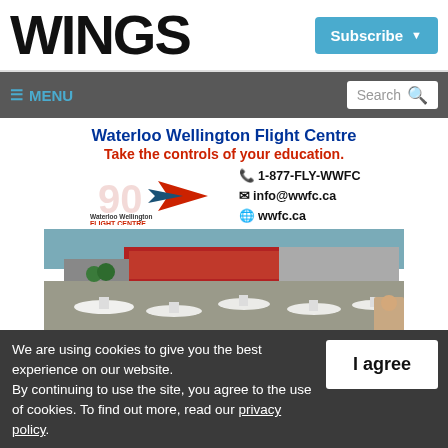WINGS
Subscribe
≡ MENU
Search
[Figure (infographic): Waterloo Wellington Flight Centre advertisement with logo, contact info (1-877-FLY-WWFC, info@wwfc.ca, wwfc.ca), and aerial photo of flight school with planes on tarmac]
Waterloo Wellington Flight Centre
Take the controls of your education.
1-877-FLY-WWFC
info@wwfc.ca
wwfc.ca
We are using cookies to give you the best experience on our website. By continuing to use the site, you agree to the use of cookies. To find out more, read our privacy policy.
I agree